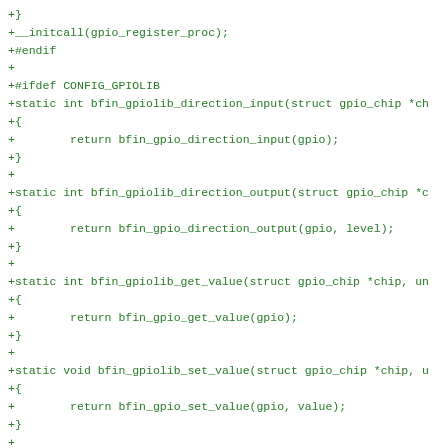+}
+__initcall(gpio_register_proc);
+#endif
+
+#ifdef CONFIG_GPIOLIB
+static int bfin_gpiolib_direction_input(struct gpio_chip *ch
+{
+        return bfin_gpio_direction_input(gpio);
+}
+
+static int bfin_gpiolib_direction_output(struct gpio_chip *c
+{
+        return bfin_gpio_direction_output(gpio, level);
+}
+
+static int bfin_gpiolib_get_value(struct gpio_chip *chip, un
+{
+        return bfin_gpio_get_value(gpio);
+}
+
+static void bfin_gpiolib_set_value(struct gpio_chip *chip, u
+{
+        return bfin_gpio_set_value(gpio, value);
+}
+
+static int bfin_gpiolib_gpio_request(struct gpio_chip *chip,